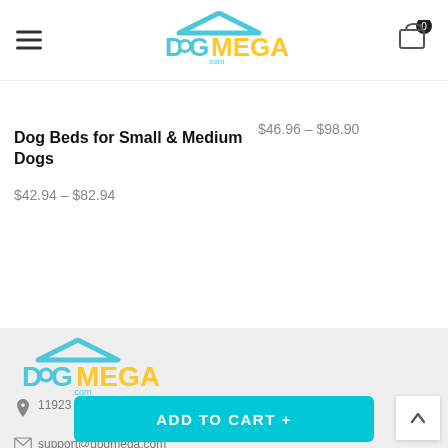DogMega.com header with navigation and cart
Dog Beds for Small & Medium Dogs
$42.94 – $82.94
$46.96 – $98.90
[Figure (logo): DogMega.com logo in footer]
11923 NE Sumner St, STE 798462, Portland, OR 97220, USA
support@dogmega.com
ADD TO CART +